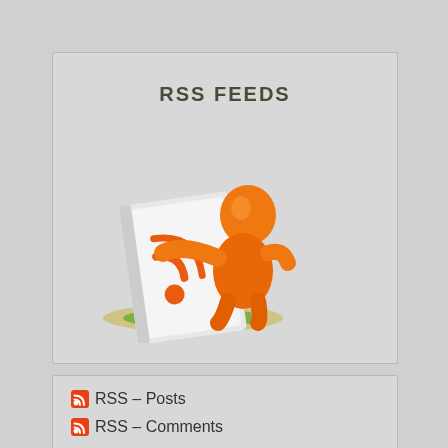RSS FEEDS
[Figure (illustration): An orange cartoon character sitting on a chair reading a large book/magazine with RSS feed icon on the cover, with grass underneath]
RSS – Posts
RSS – Comments